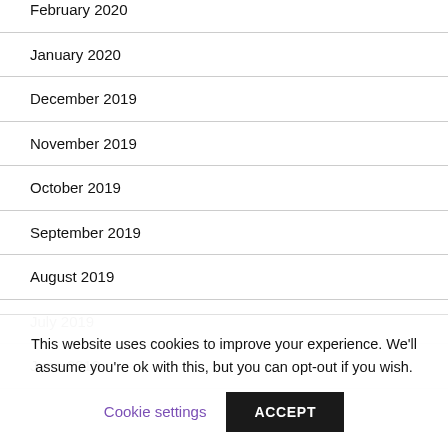February 2020
January 2020
December 2019
November 2019
October 2019
September 2019
August 2019
July 2019
June 2019
This website uses cookies to improve your experience. We'll assume you're ok with this, but you can opt-out if you wish.
Cookie settings | ACCEPT